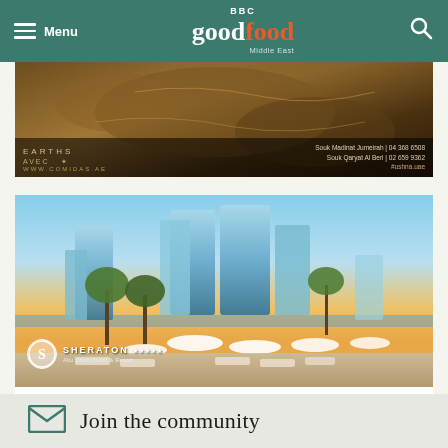Menu | BBC Good Food Middle East
[Figure (photo): Restaurant advertisement banner with food imagery, EARTHS branding, and contact details for Souk Madinat Jumeirah and Souk Qaryat Al Beri locations]
[Figure (photo): Sheraton Abu Dhabi Hotel & Resort exterior photo showing pool area with white umbrellas, palm trees, and modern hotel towers against a sunset sky]
SHERATON ABU DHABI HOTEL & RESORT
SUMMER ESCAPE
From AED 449
With FREE AED 300 Daily Dining Credit
Join the community